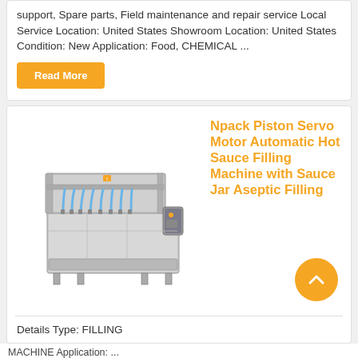support, Spare parts, Field maintenance and repair service Local Service Location: United States Showroom Location: United States Condition: New Application: Food, CHEMICAL ...
Read More
[Figure (photo): Photo of an Npack industrial filling machine — a stainless steel automatic piston servo motor hot sauce filling machine with multiple filling nozzles and tubes on top.]
Npack Piston Servo Motor Automatic Hot Sauce Filling Machine with Sauce Jar Aseptic Filling
Details Type: FILLING MACHINE Application: ...